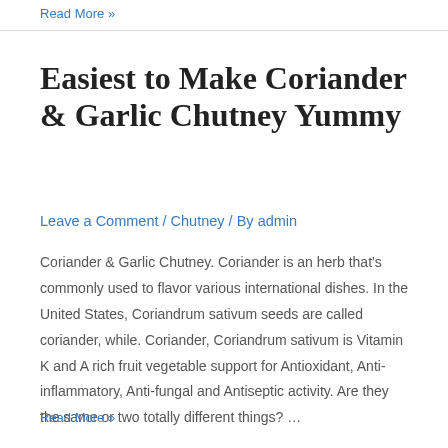Read More »
Easiest to Make Coriander & Garlic Chutney Yummy
Leave a Comment / Chutney / By admin
Coriander & Garlic Chutney. Coriander is an herb that's commonly used to flavor various international dishes. In the United States, Coriandrum sativum seeds are called coriander, while. Coriander, Coriandrum sativum is Vitamin K and A rich fruit vegetable support for Antioxidant, Anti-inflammatory, Anti-fungal and Antiseptic activity. Are they the same or two totally different things? …
Read More »